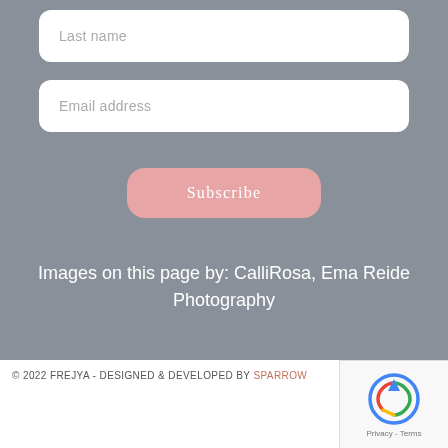Last name
Email address
Subscribe
Images on this page by: CalliRosa, Ema Reide Photography
© 2022 FREJYA - DESIGNED & DEVELOPED BY SPARROW
[Figure (other): reCAPTCHA widget with Privacy and Terms links]